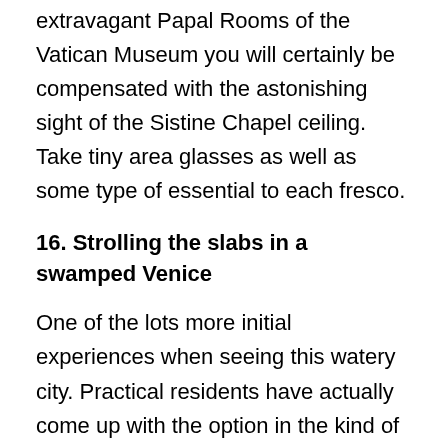If you endure the 5km stroll with the instead extravagant Papal Rooms of the Vatican Museum you will certainly be compensated with the astonishing sight of the Sistine Chapel ceiling. Take tiny area glasses as well as some type of essential to each fresco.
16. Strolling the slabs in a swamped Venice
One of the lots more initial experiences when seeing this watery city. Practical residents have actually come up with the option in the kind of increased systems so you can stroll the slabs around Piazza San Marco without obtaining